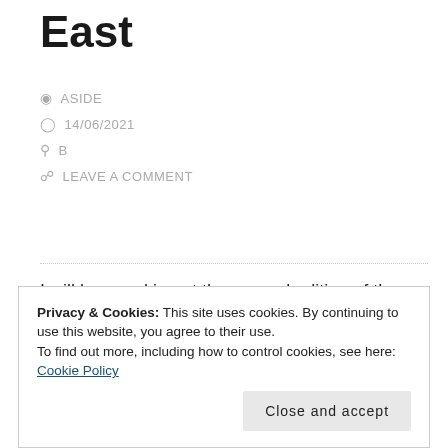East
ASIDE
14/06/2021
B
LEAVE A COMMENT
I will be speaking at the second edition of the East est festival (18-20.6.2021, Lublin, Poland) about skateboarding travels to the East through the perspective of the Latin civilisation. Where: campus of the Katholic University of Lublin (KUL), “Centrum
Privacy & Cookies: This site uses cookies. By continuing to use this website, you agree to their use. To find out more, including how to control cookies, see here: Cookie Policy
Close and accept